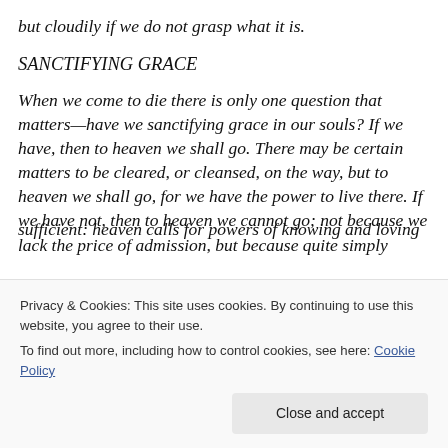but cloudily if we do not grasp what it is.
SANCTIFYING GRACE
When we come to die there is only one question that matters—have we sanctifying grace in our souls? If we have, then to heaven we shall go. There may be certain matters to be cleared, or cleansed, on the way, but to heaven we shall go, for we have the power to live there. If we have not, then to heaven we cannot go; not because we lack the price of admission, but because quite simply
sufficient: heaven calls for powers of knowing and loving
Privacy & Cookies: This site uses cookies. By continuing to use this website, you agree to their use. To find out more, including how to control cookies, see here: Cookie Policy